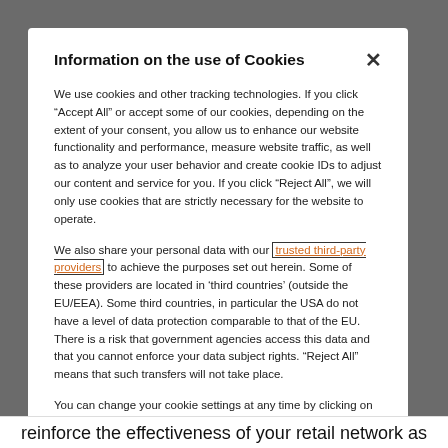Information on the use of Cookies
We use cookies and other tracking technologies. If you click “Accept All” or accept some of our cookies, depending on the extent of your consent, you allow us to enhance our website functionality and performance, measure website traffic, as well as to analyze your user behavior and create cookie IDs to adjust our content and service for you. If you click “Reject All”, we will only use cookies that are strictly necessary for the website to operate.
We also share your personal data with our trusted third-party providers to achieve the purposes set out herein. Some of these providers are located in ‘third countries’ (outside the EU/EEA). Some third countries, in particular the USA do not have a level of data protection comparable to that of the EU. There is a risk that government agencies access this data and that you cannot enforce your data subject rights. “Reject All” means that such transfers will not take place.
You can change your cookie settings at any time by clicking on the Cookie Settings link in this banner and our website footer, where we further inform you about the different types of cookies we use. For further information please navigate through the links in the cookie banner.
See also:  Privacy notice  Cookie notice  Imprint
reinforce the effectiveness of your retail network as